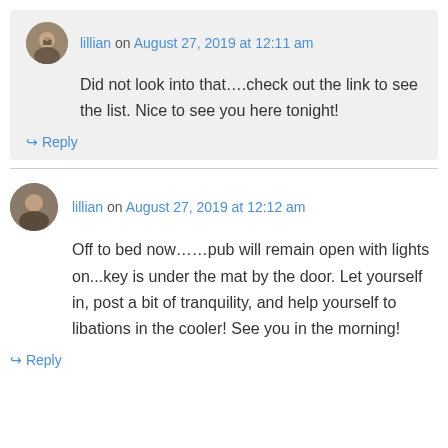lillian on August 27, 2019 at 12:11 am
Did not look into that....check out the link to see the list. Nice to see you here tonight!
Reply
lillian on August 27, 2019 at 12:12 am
Off to bed now……pub will remain open with lights on...key is under the mat by the door. Let yourself in, post a bit of tranquility, and help yourself to libations in the cooler! See you in the morning!
Reply